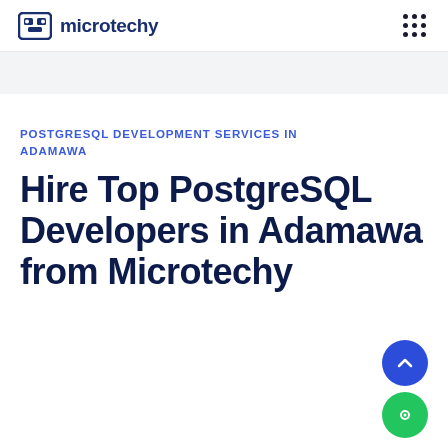microtechy
POSTGRESQL DEVELOPMENT SERVICES IN ADAMAWA
Hire Top PostgreSQL Developers in Adamawa from Microtechy